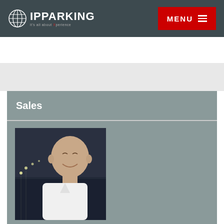IPPARKING - it's all about Xperience | MENU
Sales
[Figure (photo): Headshot of Gerwin Nent, a bald smiling man in a white shirt, with a night-time bridge/road in the background]
Gerwin Nent
Manager Sales